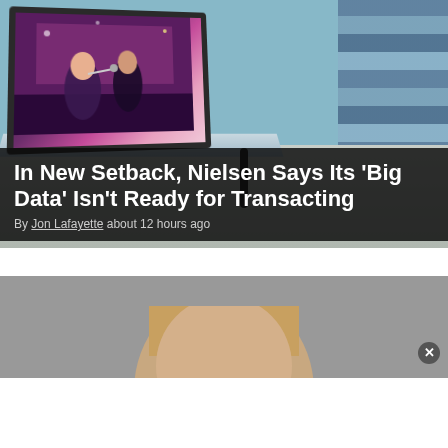[Figure (photo): Overhead/angled view of a flat-screen TV on a stand in a room with blue walls and striped curtains on the right. A show with two people is visible on the TV screen.]
In New Setback, Nielsen Says Its ‘Big Data’ Isn’t Ready for Transacting
By Jon Lafayette about 12 hours ago
[Figure (photo): Partial photograph of a person (man with light hair) against a gray background, cropped at top of frame.]